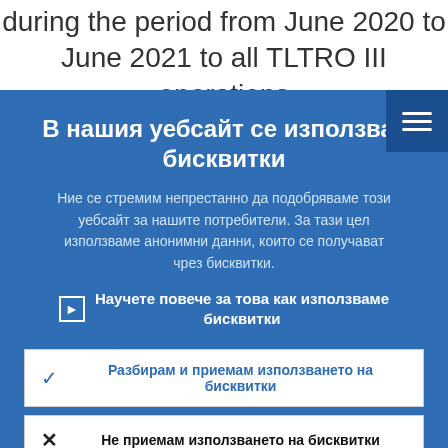during the period from June 2020 to June 2021 to all TLTRO III operations outstanding during that same time
В нашия уебсайт се използват бисквитки
Ние се стремим непрестанно да подобряваме този уебсайт за нашите потребители. За тази цел използваме анонимни данни, които се получават чрез бисквитки.
Научете повече за това как използваме бисквитки
Разбирам и приемам използването на бисквитки
Не приемам използването на бисквитки